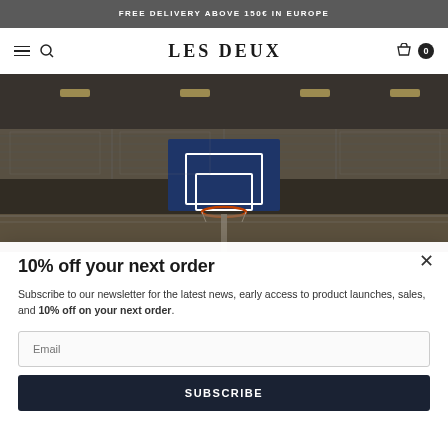FREE DELIVERY ABOVE 150€ IN EUROPE
LES DEUX
[Figure (photo): Interior of a basketball gymnasium with bleachers and a basketball hoop visible, dark moody tone with overhead lighting.]
10% off your next order
Subscribe to our newsletter for the latest news, early access to product launches, sales, and 10% off on your next order.
Email
Subscribe